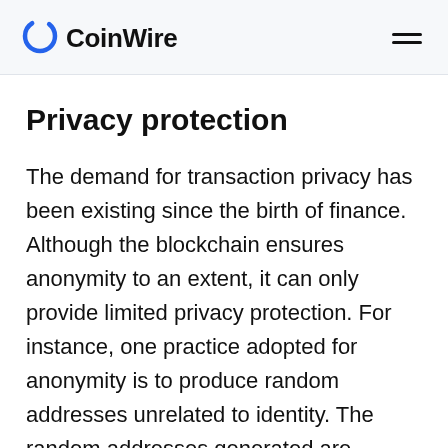CoinWire
Privacy protection
The demand for transaction privacy has been existing since the birth of finance. Although the blockchain ensures anonymity to an extent, it can only provide limited privacy protection. For instance, one practice adopted for anonymity is to produce random addresses unrelated to identity. The random addresses generated are usually used as the input and output accounts of transactions. However, through tracking and analyzing the blockchain transaction, IP